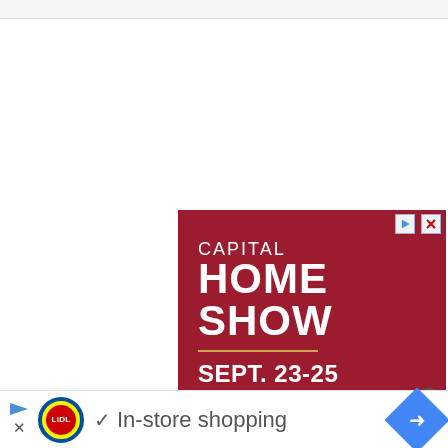[Figure (screenshot): Partial browser UI bar at the top of a webpage screenshot]
[Figure (infographic): Capital Home Show advertisement banner on dark red/maroon background. Text: CAPITAL HOME SHOW, SEPT. 23-25, DULLES EXPO CENTER, See hundreds of exhibitors!]
[Figure (infographic): Lidl in-store shopping advertisement banner at the bottom with Lidl logo, checkmark, 'In-store shopping' text, and a blue navigation arrow diamond icon]